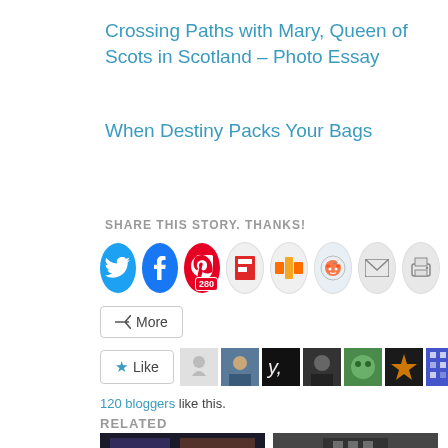Crossing Paths with Mary, Queen of Scots in Scotland – Photo Essay
When Destiny Packs Your Bags
SHARE THIS STORY. THANKS!
[Figure (infographic): Social sharing buttons: Twitter, Facebook, Pinterest (280), Flipboard, Mix, Reddit, Email, Print, and a More button]
[Figure (infographic): Like button with star icon, followed by a strip of 9 blogger avatars]
120 bloggers like this.
RELATED
[Figure (photo): Travel Ideas photo — And why I'm heading back]
[Figure (photo): IN THE STEPS OF — stone architecture photo]